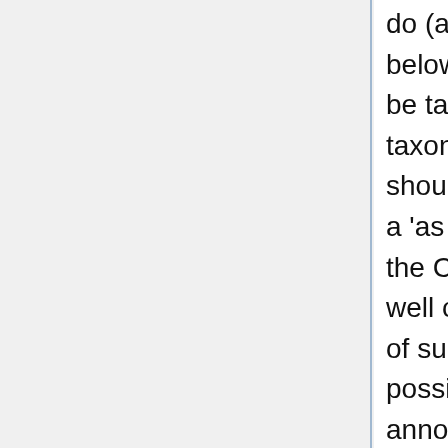do (and it pretty much matches what Paola says below and the wiki she cites): A complex should be taxon agnostic but may be restricted to certain taxonomic groups, such as pro- vs eukaryotes. ... should contain subunits in the def ... should have a 'as precise as possible' part_of relationship to the CC (may have to create new terms here as well of course!) which can be a complex (in cases of subcomplexes) or a location ... have, if possible, capable_of and capable_of_part_of annotation extensions. ... should have is_a relationship to an appropriate child term of 'protein complex'. This could be a term based on it's composition or function but NOT based on the PB. If no appropriate term exists, we create one based on either of the two classes. There is now a